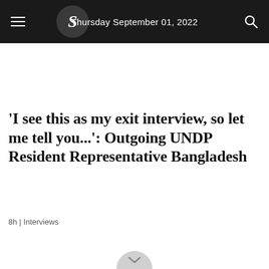Thursday September 01, 2022
'I see this as my exit interview, so let me tell you...': Outgoing UNDP Resident Representative Bangladesh
8h | Interviews